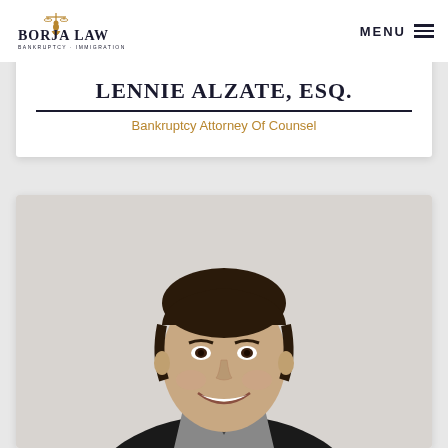[Figure (logo): Borja Law logo with Lady Justice figurine and text 'BORJA LAW - BANKRUPTCY · IMMIGRATION']
MENU
LENNIE ALZATE, ESQ.
Bankruptcy Attorney Of Counsel
[Figure (photo): Professional headshot photo of Lennie Alzate, a middle-aged man with dark hair, smiling, wearing a dark suit jacket and grey shirt, against a white background]